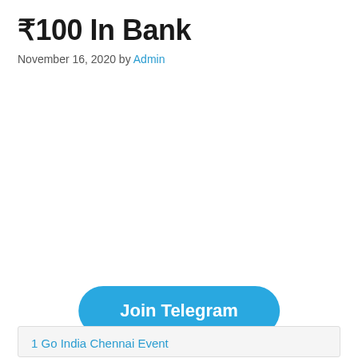₹100 In Bank
November 16, 2020 by Admin
[Figure (other): Join Telegram button — a large rounded blue button with white bold text]
1 Go India Chennai Event